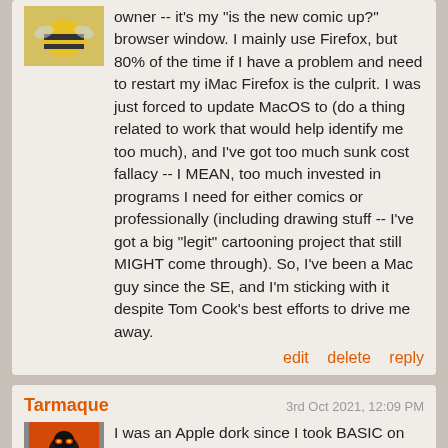owner -- it's my "is the new comic up?" browser window. I mainly use Firefox, but 80% of the time if I have a problem and need to restart my iMac Firefox is the culprit. I was just forced to update MacOS to (do a thing related to work that would help identify me too much), and I've got too much sunk cost fallacy -- I MEAN, too much invested in programs I need for either comics or professionally (including drawing stuff -- I've got a big "legit" cartooning project that still MIGHT come through). So, I've been a Mac guy since the SE, and I'm sticking with it despite Tom Cook's best efforts to drive me away.
edit   delete   reply
Tarmaque
3rd Oct 2021, 12:09 PM
I was an Apple dork since I took BASIC on an Apple II in high school. At the time my Mom used one at work too, but her boss was at the convention where they debuted the Macintosh and bought one on the spot. A year later he bought an upgrade and handed his old Mac down to her and she brought home her Apple II. This went on for four or five years, so I had a fairly